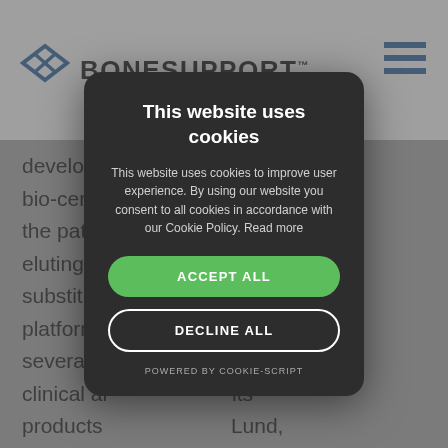[Figure (logo): BONESUPPORT logo with blue diamond-shaped icon and company name in bold dark text]
develops injectable bio-ceramic model to the patient ability of eluting d t substitute hnology platform ducting several cl rate the clinical ar its products Lund, Sweden, EK 155 million in 2019. Please visit www.bonesupport.com for more information.
This website uses cookies
This website uses cookies to improve user experience. By using our website you consent to all cookies in accordance with our Cookie Policy. Read more
ACCEPT ALL
DECLINE ALL
POWERED BY COOKIE-SCRIPT